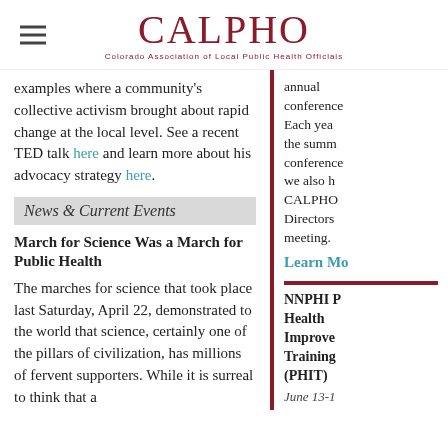CALPHO – Colorado Association of Local Public Health Officials
examples where a community's collective activism brought about rapid change at the local level. See a recent TED talk here and learn more about his advocacy strategy here.
News & Current Events
March for Science Was a March for Public Health
The marches for science that took place last Saturday, April 22, demonstrated to the world that science, certainly one of the pillars of civilization, has millions of fervent supporters. While it is surreal to think that a
annual conference Each year the summer conference we also h CALPHO Directors meeting.
Learn Mo
NNPHI P Health Improv Training (PHIT)
June 13-1